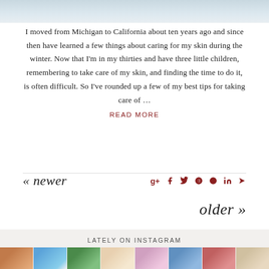[Figure (photo): Partial top image of a person, cropped]
I moved from Michigan to California about ten years ago and since then have learned a few things about caring for my skin during the winter. Now that I'm in my thirties and have three little children, remembering to take care of my skin, and finding the time to do it, is often difficult. So I've rounded up a few of my best tips for taking care of …
READ MORE
« newer
older »
LATELY ON INSTAGRAM
[Figure (photo): Row of Instagram thumbnail photos]